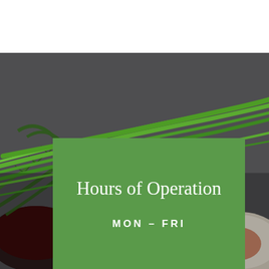[Figure (photo): Dark background photo of green onions/chives and dill herbs laid on a gray stone surface, with a dark bowl visible on the left and a white plate with reddish spice on the right.]
Hours of Operation
MON – FRI